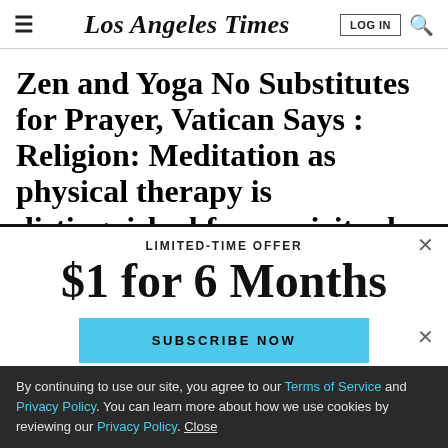Los Angeles Times
Zen and Yoga No Substitutes for Prayer, Vatican Says : Religion: Meditation as physical therapy is distinguished from spiritual
LIMITED-TIME OFFER
$1 for 6 Months
SUBSCRIBE NOW
By continuing to use our site, you agree to our Terms of Service and Privacy Policy. You can learn more about how we use cookies by reviewing our Privacy Policy. Close